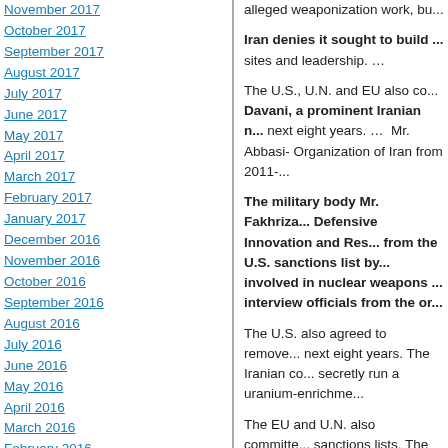November 2017
October 2017
September 2017
August 2017
July 2017
June 2017
May 2017
April 2017
March 2017
February 2017
January 2017
December 2016
November 2016
October 2016
September 2016
August 2016
July 2016
June 2016
May 2016
April 2016
March 2016
February 2016
January 2016
December 2015
November 2015
October 2015
September 2015
August 2015
July 2015
June 2015
May 2015
April 2015
alleged weaponization work, bu...
Iran denies it sought to build ... sites and leadership. …
The U.S., U.N. and EU also co... Davani, a prominent Iranian n... next eight years. … Mr. Abbasi- Organization of Iran from 2011-...
The military body Mr. Fakhriza... Defensive Innovation and Res... from the U.S. sanctions list by... involved in nuclear weapons ... interview officials from the or...
The U.S. also agreed to remove... next eight years. The Iranian co... secretly run a uranium-enrichme...
The EU and U.N. also committe... sanctions lists. The Tehran rese... who participated in secret weap... officials. …
Denials and confusion will continue: